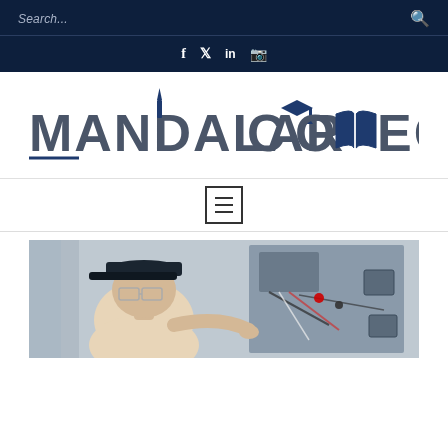Search...
[Figure (logo): Mandalar College logo with stylized text including a pen icon above the A in MANDALAR and a graduation cap icon above the C in COLLEGE, along with an open book replacing the LL in COLLEGE]
[Figure (other): Navigation hamburger menu button (three horizontal lines in a square border)]
[Figure (photo): Photo of a person wearing a baseball cap and safety glasses working on electrical wiring panel mounted on a wall]